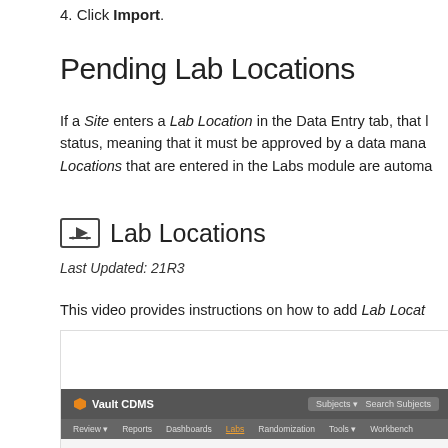4. Click Import.
Pending Lab Locations
If a Site enters a Lab Location in the Data Entry tab, that L... status, meaning that it must be approved by a data mana... Locations that are entered in the Labs module are automa...
Lab Locations
Last Updated: 21R3
This video provides instructions on how to add Lab Locat...
[Figure (screenshot): Screenshot of Vault CDMS application showing the Labs module with Lab Locations & Normal Ranges section, navigation bar with Review, Reports, Dashboards, Labs, Randomization, Tools, Workbench, and sidebar with System Settings, Analyte Library, System General Settings.]